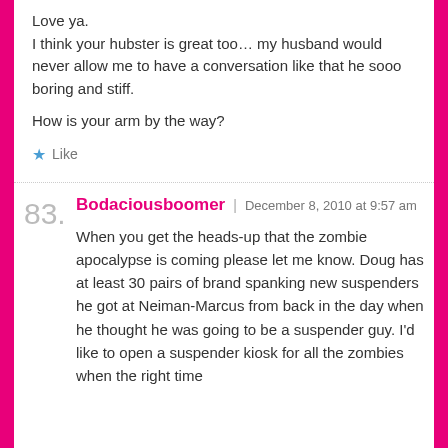Love ya.
I think your hubster is great too… my husband would never allow me to have a conversation like that he sooo boring and stiff.
How is your arm by the way?
Like
83.
Bodaciousboomer | December 8, 2010 at 9:57 am
When you get the heads-up that the zombie apocalypse is coming please let me know. Doug has at least 30 pairs of brand spanking new suspenders he got at Neiman-Marcus from back in the day when he thought he was going to be a suspender guy. I'd like to open a suspender kiosk for all the zombies when the right time